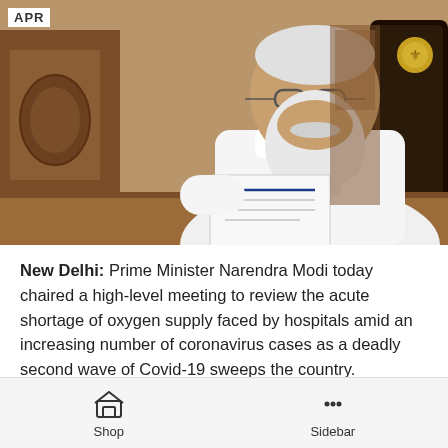[Figure (photo): Prime Minister Narendra Modi seated at a desk in a wooden office, wearing white kurta, holding documents. An 'APR' label is overlaid in the top-left corner.]
New Delhi: Prime Minister Narendra Modi today chaired a high-level meeting to review the acute shortage of oxygen supply faced by hospitals amid an increasing number of coronavirus cases as a deadly second wave of Covid-19 sweeps the country.
“The PM spoke about the need to work rapidly on multiple aspects: increasing production of oxygen, increasing the speed of
Shop   Sidebar